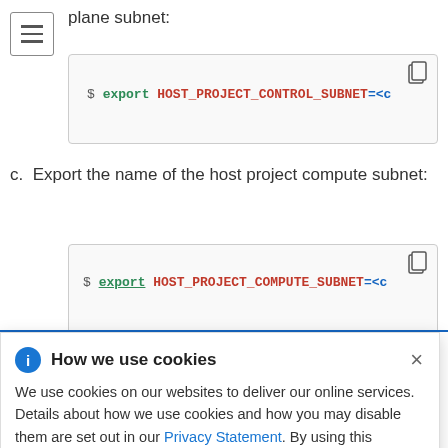plane subnet:
[Figure (screenshot): Code block showing: $ export HOST_PROJECT_CONTROL_SUBNET=<c]
c. Export the name of the host project compute subnet:
[Figure (screenshot): Code block showing: $ export HOST_PROJECT_COMPUTE_SUBNET=<c]
How we use cookies - popup dialog with info icon and close button. Text: We use cookies on our websites to deliver our online services. Details about how we use cookies and how you may disable them are set out in our Privacy Statement. By using this website you agree to our use of cookies.
up Shared
the VPC
nager
template to deploy the VPC that you need for your